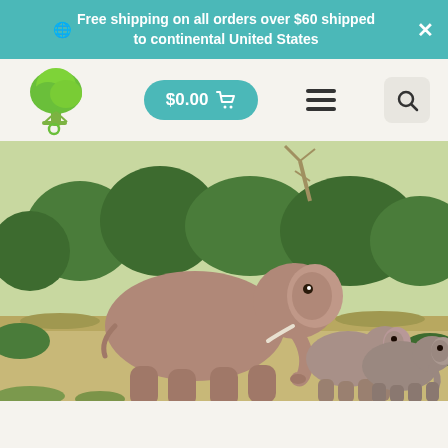🌐 Free shipping on all orders over $60 shipped to continental United States
[Figure (logo): Green tree logo with a leaf swing]
$0.00 🛒
[Figure (photo): A mother elephant walking with two baby elephants in a natural savanna setting with green bushes in the background]